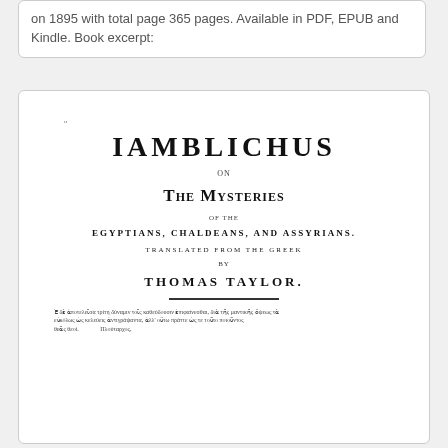on 1895 with total page 365 pages. Available in PDF, EPUB and Kindle. Book excerpt:
[Figure (illustration): Scanned title page of an old book: 'Iamblichus on The Mysteries of the Egyptians, Chaldeans, and Assyrians. Translated from the Greek by Thomas Taylor.' with a decorative rule and a Greek language epigraph at the bottom attributed to Plutarch.]